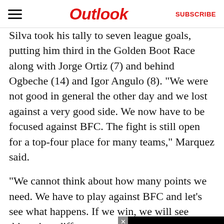Outlook | SUBSCRIBE
Silva took his tally to seven league goals, putting him third in the Golden Boot Race along with Jorge Ortiz (7) and behind Ogbeche (14) and Igor Angulo (8). “We were not good in general the other day and we lost against a very good side. We now have to be focused against BFC. The fight is still open for a top-four place for many teams,” Marquez said.
“We cannot think about how many points we need. We have to play against BFC and let’s see what happens. If we win, we will see things in a different way. If we lose, w[…] fighting. Nothing will be d[…] round.”
Head-To-Head
[Figure (screenshot): Black video player overlay in the bottom-right corner with a loading spinner ring (circle outline) and a close button marked with an X]